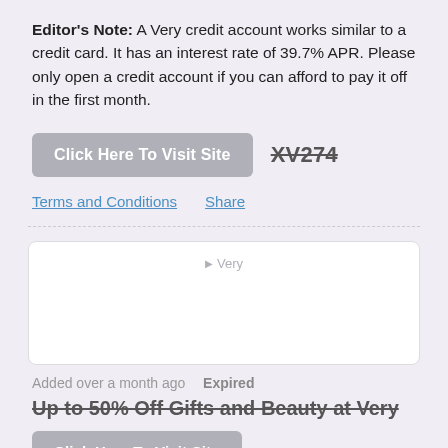Editor's Note: A Very credit account works similar to a credit card. It has an interest rate of 39.7% APR. Please only open a credit account if you can afford to pay it off in the first month.
[Figure (other): Button labeled 'Click Here To Visit Site' in grey, next to strikethrough code text 'XV274']
Terms and Conditions   Share
[Figure (other): White card/box containing a broken image placeholder labeled 'Very']
Added over a month ago  Expired
Up to 50% Off Gifts and Beauty at Very
[Figure (other): Button labeled 'Click Here To Visit Site' in grey]